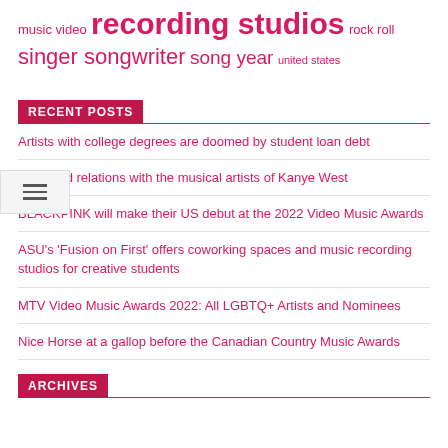music video  recording studios  rock roll  singer songwriter  song year  united states
RECENT POSTS
Artists with college degrees are doomed by student loan debt
The good relations with the musical artists of Kanye West
BLACKPINK will make their US debut at the 2022 Video Music Awards
ASU's 'Fusion on First' offers coworking spaces and music recording studios for creative students
MTV Video Music Awards 2022: All LGBTQ+ Artists and Nominees
Nice Horse at a gallop before the Canadian Country Music Awards
ARCHIVES